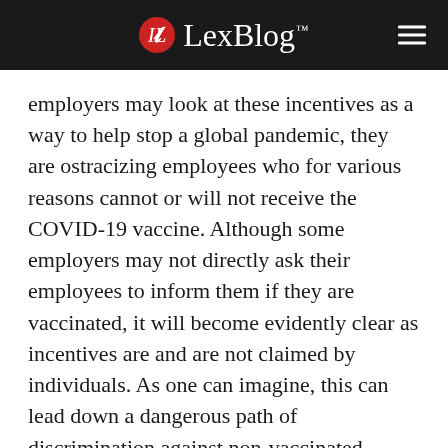LexBlog™
employers may look at these incentives as a way to help stop a global pandemic, they are ostracizing employees who for various reasons cannot or will not receive the COVID-19 vaccine. Although some employers may not directly ask their employees to inform them if they are vaccinated, it will become evidently clear as incentives are and are not claimed by individuals. As one can imagine, this can lead down a dangerous path of discrimination against non-vaccinated employees.
In 1996, the Health Insurance Portability and